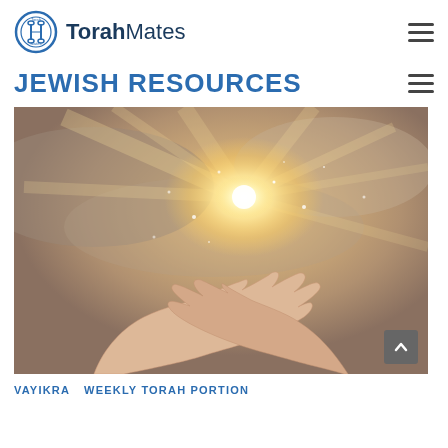[Figure (logo): TorahMates logo with circular icon and text 'TorahMates']
JEWISH RESOURCES
[Figure (photo): Two hands raised open, palms up, with a glowing light and sparkles emanating from the center, against a warm grey sky background]
VAYIKRA    WEEKLY TORAH PORTION